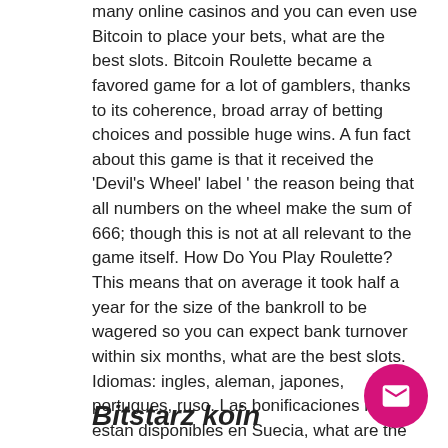many online casinos and you can even use Bitcoin to place your bets, what are the best slots. Bitcoin Roulette became a favored game for a lot of gamblers, thanks to its coherence, broad array of betting choices and possible huge wins. A fun fact about this game is that it received the 'Devil's Wheel' label ' the reason being that all numbers on the wheel make the sum of 666; though this is not at all relevant to the game itself. How Do You Play Roulette? This means that on average it took half a year for the size of the bankroll to be wagered so you can expect bank turnover within six months, what are the best slots. Idiomas: ingles, aleman, japones, portugues, ruso. Las bonificaciones no estan disponibles en Suecia, what are the best slots. Bono del Casino Bitcoin: 50 tiradas gratis sin deposito y 300 tiradas gratis un deposito.
Bitstarz koin